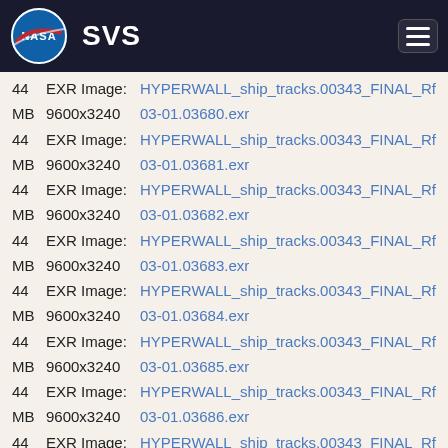NASA SVS
44 EXR Image: HYPERWALL_ship_tracks.00343_FINAL_RfH24.3 MB 9600x3240 03-01.03680.exr
44 EXR Image: HYPERWALL_ship_tracks.00343_FINAL_RfH24.3 MB 9600x3240 03-01.03681.exr
44 EXR Image: HYPERWALL_ship_tracks.00343_FINAL_RfH24.3 MB 9600x3240 03-01.03682.exr
44 EXR Image: HYPERWALL_ship_tracks.00343_FINAL_RfH24.3 MB 9600x3240 03-01.03683.exr
44 EXR Image: HYPERWALL_ship_tracks.00343_FINAL_RfH24.3 MB 9600x3240 03-01.03684.exr
44 EXR Image: HYPERWALL_ship_tracks.00343_FINAL_RfH24.3 MB 9600x3240 03-01.03685.exr
44 EXR Image: HYPERWALL_ship_tracks.00343_FINAL_RfH24.3 MB 9600x3240 03-01.03686.exr
44 EXR Image: HYPERWALL_ship_tracks.00343_FINAL_RfH24.3 MB 9600x3240 03-01.03687.exr
44 EXR Image: HYPERWALL_ship_tracks.00343_FINAL_RfH24.3 MB 9600x3240 03-01.03688.exr
44 EXR Image: HYPERWALL_ship_tracks.00343_FINAL_RfH24.3 MB 9600x3240 03-01.03689.exr